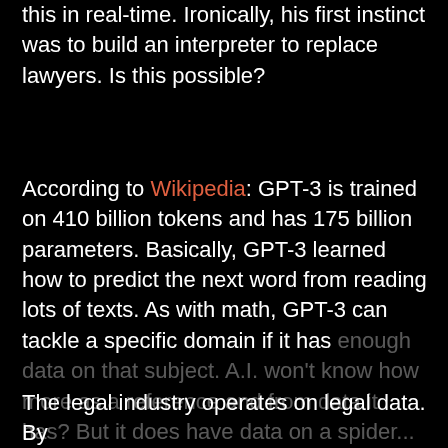this in real-time. Ironically, his first instinct was to build an interpreter to replace lawyers. Is this possible?
According to Wikipedia: GPT-3 is trained on 410 billion tokens and has 175 billion parameters. Basically, GPT-3 learned how to predict the next word from reading lots of texts. As with math, GPT-3 can tackle a specific domain if it has enough data on that subject. A.I. won't know how more as a reference and from data it has. But it does have data on a spider...
Our website uses cookies, mainly from Google. Check our unique privacy policy video to learn more.
Reject
Accept
Legal Data
The legal industry operates on legal data. By